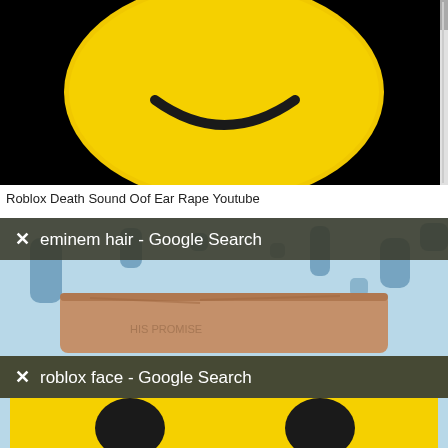[Figure (photo): Roblox character yellow smiley head against black background, close-up view showing a smiling blocky yellow face]
Roblox Death Sound Oof Ear Rape Youtube
[Figure (screenshot): Composite screenshot showing two browser tabs overlapping: top tab reads 'eminem hair - Google Search' showing a person's hair with light blue spotted background, bottom tab reads 'roblox face - Google Search' showing a yellow Roblox face with dark eyes]